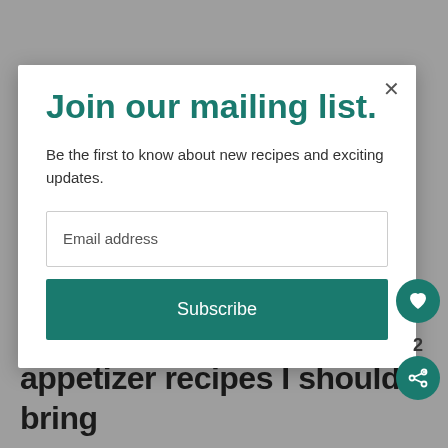and I am trying to decide which of my many appetizer recipes I should bring with me
[Figure (screenshot): Mailing list subscription modal popup with title 'Join our mailing list.', body text 'Be the first to know about new recipes and exciting updates.', an email address input field, and a teal Subscribe button. A close (×) button is in the top right corner of the modal.]
2